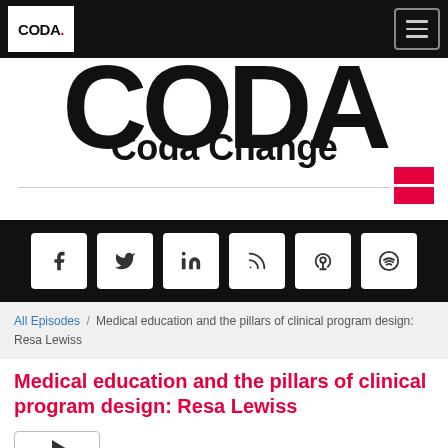CODA. [logo] [hamburger menu]
[Figure (logo): Coda Change hero banner with large CODA background text and 'Coda Change' overlaid, with red decorative squares and a horizontal rule]
[Figure (infographic): Black social media bar with icons: Facebook, Twitter, LinkedIn, RSS, Podcast, Spotify]
All Episodes / Medical education and the pillars of clinical program design: Resa Lewiss
Medical education and the pillars of clinical program design: Resa Lewiss
[Figure (other): Play button control box]